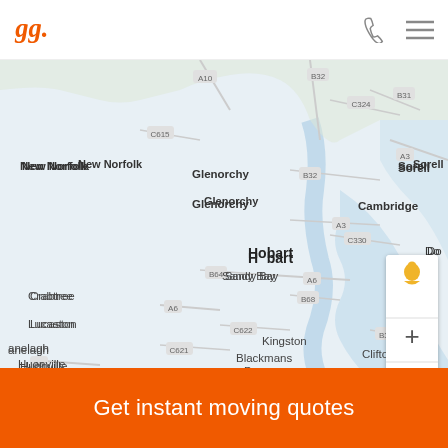[Figure (logo): Oneflare logo in orange cursive style]
[Figure (map): Google map of Hobart, Tasmania area with multiple orange location pin markers clustered around Hobart, Cambridge, Kingston/Blackmans Bay area. Map shows suburbs: New Norfolk, Glenorchy, Hobart, Sandy Bay, Crabtree, Lucaston, Huonville, Cambridge, Sorell, Clifton Beach, Kingston, Blackmans Bay, Margate, Snug. Road labels: A10, B32, C324, B31, A3, C615, C330, B64, A6, B68, C622, B33, C621, A6. Map controls panel on right with pegman icon, plus and minus zoom buttons.]
Get instant moving quotes